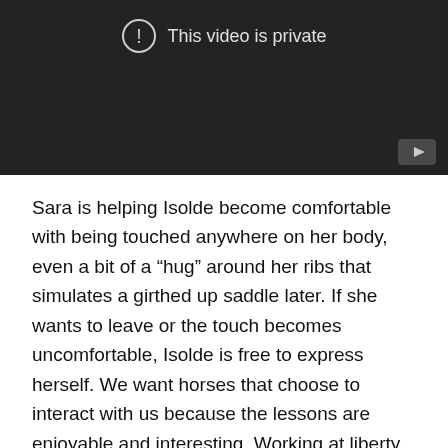[Figure (screenshot): Embedded video player showing 'This video is private' message with a YouTube logo in the bottom right corner. The background is dark/black.]
Sara is helping Isolde become comfortable with being touched anywhere on her body, even a bit of a “hug” around her ribs that simulates a girthed up saddle later. If she wants to leave or the touch becomes uncomfortable, Isolde is free to express herself. We want horses that choose to interact with us because the lessons are enjoyable and interesting. Working at liberty ensures these foals can vote on their daily lesson. It’s information. If one of our foals votes no, it’s up to us as trainers to present the lesson in a new way. The learner is always right. At the